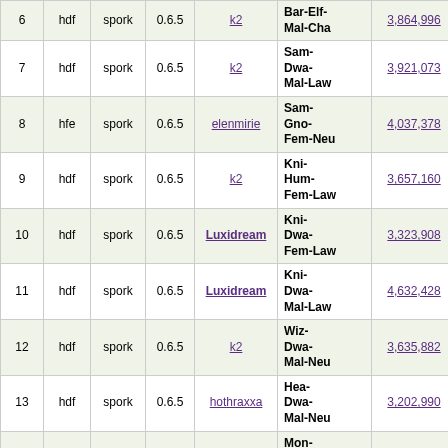| # | type | ruleset | ver | player | races | score | turns | col9 |
| --- | --- | --- | --- | --- | --- | --- | --- | --- |
| 6 | hdf | spork | 0.6.5 | k2 | Bar-Elf-Mal-Cha | 3,864,996 | 45861 | 1? |
| 7 | hdf | spork | 0.6.5 | k2 | Sam-Dwa-Mal-Law | 3,921,073 | 39378 | 14 |
| 8 | hfe | spork | 0.6.5 | elenmirie | Sam-Gno-Fem-Neu | 4,037,378 | 54827 |  |
| 9 | hdf | spork | 0.6.5 | k2 | Kni-Hum-Fem-Law | 3,657,160 | 37033 | 18 |
| 10 | hdf | spork | 0.6.5 | Luxidream | Kni-Dwa-Fem-Law | 3,323,908 | 56635 | 5 |
| 11 | hdf | spork | 0.6.5 | Luxidream | Kni-Dwa-Mal-Law | 4,632,428 | 56119 | 0 |
| 12 | hdf | spork | 0.6.5 | k2 | Wiz-Dwa-Mal-Neu | 3,635,882 | 54371 | 4 |
| 13 | hdf | spork | 0.6.5 | hothraxxa | Hea-Dwa-Mal-Neu | 3,202,990 | 44463 | 7 |
| 14 | hdf | spork | 0.6.5 | k2 | Mon-Orc-Mal-Neu | 4,769,398 | 49199 | 5 |